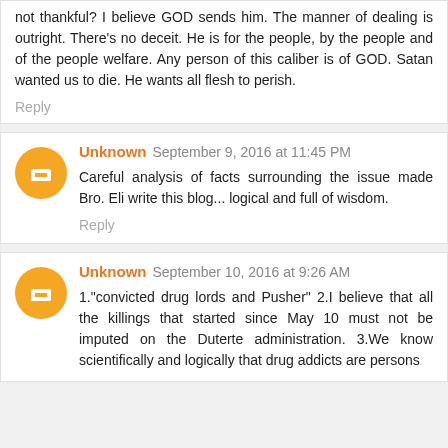not thankful? I believe GOD sends him. The manner of dealing is outright. There's no deceit. He is for the people, by the people and of the people welfare. Any person of this caliber is of GOD. Satan wanted us to die. He wants all flesh to perish.
Reply
Unknown September 9, 2016 at 11:45 PM
Careful analysis of facts surrounding the issue made Bro. Eli write this blog... logical and full of wisdom.
Reply
Unknown September 10, 2016 at 9:26 AM
1."convicted drug lords and Pusher" 2.I believe that all the killings that started since May 10 must not be imputed on the Duterte administration. 3.We know scientifically and logically that drug addicts are persons